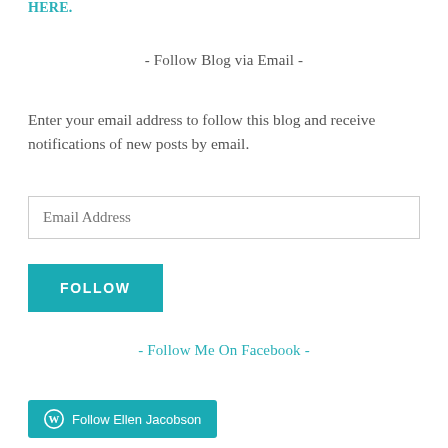HERE.
- Follow Blog via Email -
Enter your email address to follow this blog and receive notifications of new posts by email.
Email Address
FOLLOW
- Follow Me On Facebook -
Follow Ellen Jacobson